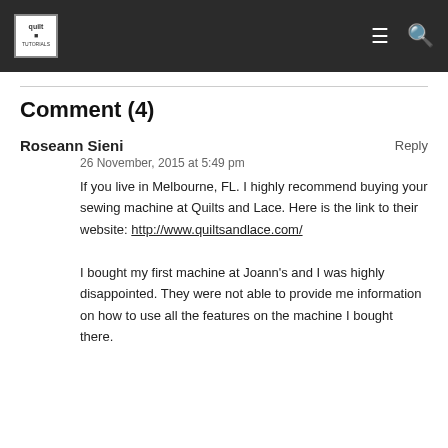Quilt [logo] ≡ 🔍
Comment (4)
Roseann Sieni
Reply
26 November, 2015 at 5:49 pm
If you live in Melbourne, FL. I highly recommend buying your sewing machine at Quilts and Lace. Here is the link to their website: http://www.quiltsandlace.com/
I bought my first machine at Joann's and I was highly disappointed. They were not able to provide me information on how to use all the features on the machine I bought there.